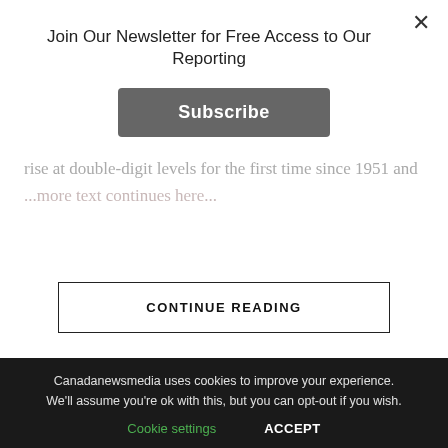Join Our Newsletter for Free Access to Our Reporting
Subscribe
recently that inflation in the country was this year likely to rise at double-digit levels for the first time since 1951 and...
CONTINUE READING
LATEST   TRENDING   VIDEOS
TECH / 18 mins ago
Apple Insider Reveals Huge New iPhone 14 Pro Camera Upgrade — Forbes
Canadanewsmedia uses cookies to improve your experience. We'll assume you're ok with this, but you can opt-out if you wish.
Cookie settings   ACCEPT